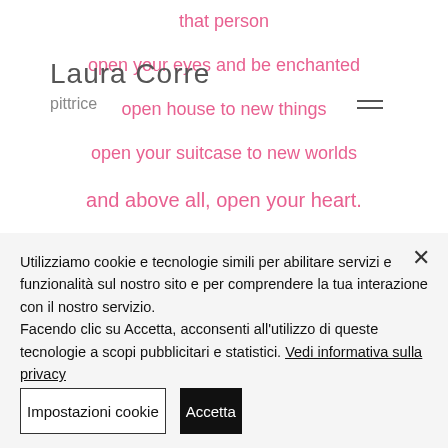Laura Corre pittrice
that person
open your eyes and be enchanted
open house to new things
open your suitcase to new worlds

and above all, open your heart.
(And never lose irony).
Utilizziamo cookie e tecnologie simili per abilitare servizi e funzionalità sul nostro sito e per comprendere la tua interazione con il nostro servizio.
Facendo clic su Accetta, acconsenti all'utilizzo di queste tecnologie a scopi pubblicitari e statistici. Vedi informativa sulla privacy
Impostazioni cookie
Accetta